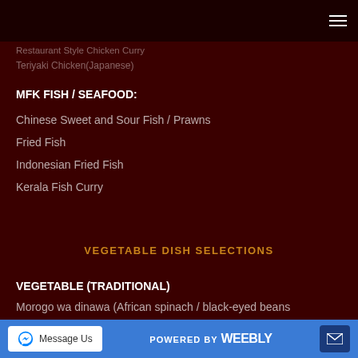Restaurant Style Chicken Curry
Teriyaki Chicken(Japanese)
MFK FISH / SEAFOOD:
Chinese Sweet and Sour Fish / Prawns
Fried Fish
Indonesian Fried Fish
Kerala Fish Curry
VEGETABLE DISH SELECTIONS
VEGETABLE (TRADITIONAL)
Morogo wa dinawa (African spinach / black-eyed beans dried leaves)